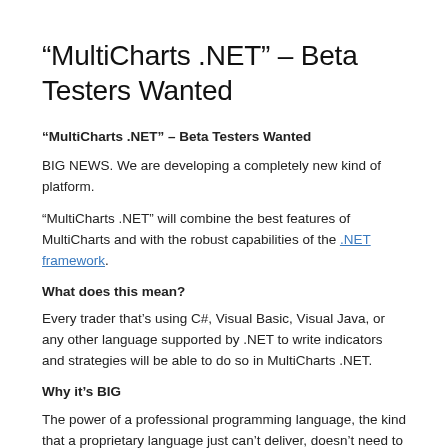“MultiCharts .NET” – Beta Testers Wanted
“MultiCharts .NET” – Beta Testers Wanted
BIG NEWS. We are developing a completely new kind of platform.
“MultiCharts .NET” will combine the best features of MultiCharts and with the robust capabilities of the .NET framework.
What does this mean?
Every trader that’s using C#, Visual Basic, Visual Java, or any other language supported by .NET to write indicators and strategies will be able to do so in MultiCharts .NET.
Why it’s BIG
The power of a professional programming language, the kind that a proprietary language just can’t deliver, doesn’t need to be explained to anybody familiar with programming. A open, priorities it...